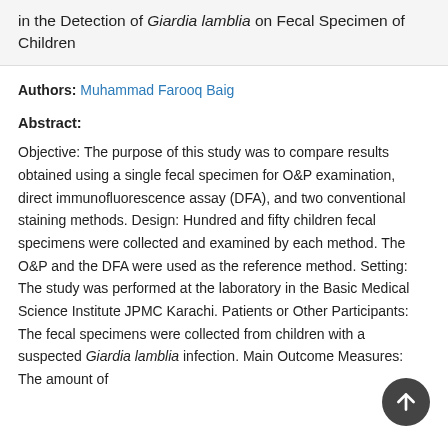in the Detection of Giardia lamblia on Fecal Specimen of Children
Authors: Muhammad Farooq Baig
Abstract:
Objective: The purpose of this study was to compare results obtained using a single fecal specimen for O&P examination, direct immunofluorescence assay (DFA), and two conventional staining methods. Design: Hundred and fifty children fecal specimens were collected and examined by each method. The O&P and the DFA were used as the reference method. Setting: The study was performed at the laboratory in the Basic Medical Science Institute JPMC Karachi. Patients or Other Participants: The fecal specimens were collected from children with a suspected Giardia lamblia infection. Main Outcome Measures: The amount of